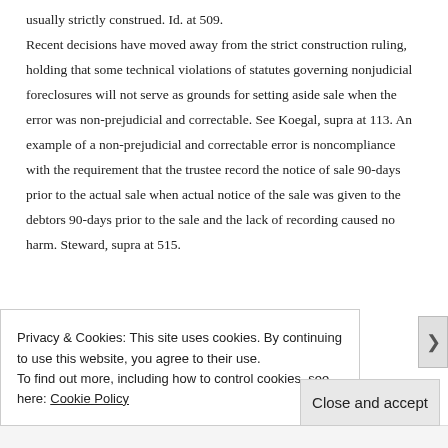usually strictly construed. Id. at 509. Recent decisions have moved away from the strict construction ruling, holding that some technical violations of statutes governing nonjudicial foreclosures will not serve as grounds for setting aside sale when the error was non-prejudicial and correctable. See Koegal, supra at 113. An example of a non-prejudicial and correctable error is noncompliance with the requirement that the trustee record the notice of sale 90-days prior to the actual sale when actual notice of the sale was given to the debtors 90-days prior to the sale and the lack of recording caused no harm. Steward, supra at 515.
Privacy & Cookies: This site uses cookies. By continuing to use this website, you agree to their use.
To find out more, including how to control cookies, see here: Cookie Policy
Close and accept